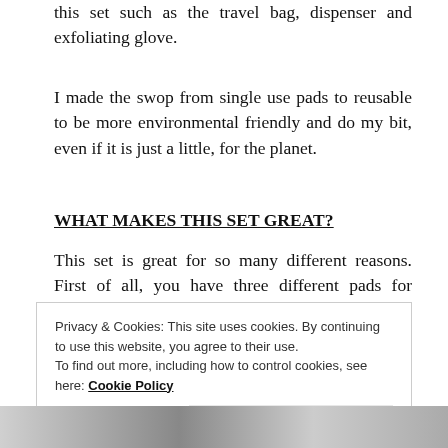this set such as the travel bag, dispenser and exfoliating glove.
I made the swop from single use pads to reusable to be more environmental friendly and do my bit, even if it is just a little, for the planet.
WHAT MAKES THIS SET GREAT?
This set is great for so many different reasons. First of all, you have three different pads for different purposes.
Privacy & Cookies: This site uses cookies. By continuing to use this website, you agree to their use.
To find out more, including how to control cookies, see here: Cookie Policy
[Figure (photo): Bottom strip showing a partial photo, appears to be white/grey toned product or fabric image]